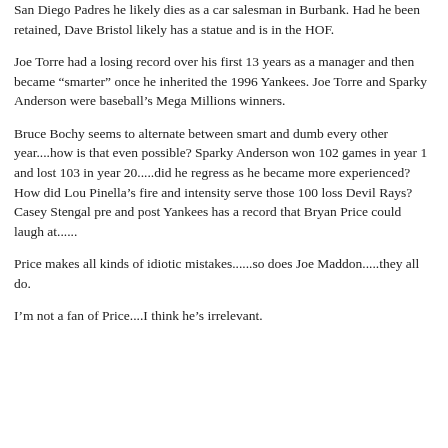San Diego Padres he likely dies as a car salesman in Burbank. Had he been retained, Dave Bristol likely has a statue and is in the HOF.
Joe Torre had a losing record over his first 13 years as a manager and then became “smarter” once he inherited the 1996 Yankees. Joe Torre and Sparky Anderson were baseball’s Mega Millions winners.
Bruce Bochy seems to alternate between smart and dumb every other year....how is that even possible? Sparky Anderson won 102 games in year 1 and lost 103 in year 20.....did he regress as he became more experienced? How did Lou Pinella’s fire and intensity serve those 100 loss Devil Rays? Casey Stengal pre and post Yankees has a record that Bryan Price could laugh at......
Price makes all kinds of idiotic mistakes......so does Joe Maddon.....they all do.
I’m not a fan of Price....I think he’s irrelevant.